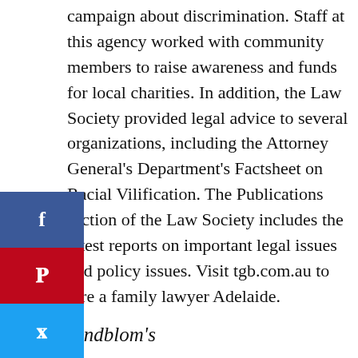campaign about discrimination. Staff at this agency worked with community members to raise awareness and funds for local charities. In addition, the Law Society provided legal advice to several organizations, including the Attorney General's Department's Factsheet on Racial Vilification. The Publications section of the Law Society includes the latest reports on important legal issues and policy issues. Visit tgb.com.au to hire a family lawyer Adelaide.
Lindblom's
There is no better place to turn than Lindblom's Adelaide for a family law matter. Providing excellent service and legal expertise, Adelaide Lawyers fight for their client's rights balanced and cost-effective. With over 30 years of